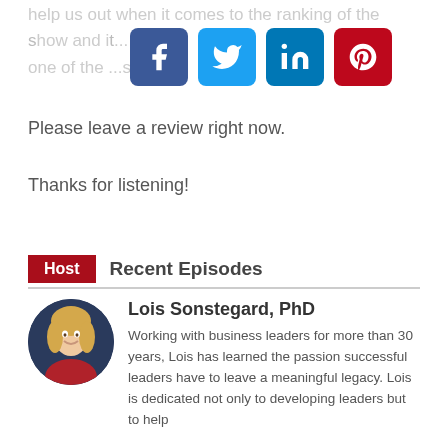help us out when it comes to the ranking of the show and it... the... and ...ingle one of the ...s...
[Figure (other): Social media share buttons: Facebook (blue), Twitter (light blue), LinkedIn (dark blue), Pinterest (dark red)]
Please leave a review right now.
Thanks for listening!
Host   Recent Episodes
[Figure (photo): Circular profile photo of Lois Sonstegard, PhD - a woman with blonde hair smiling, wearing a red top, on a dark navy background]
Lois Sonstegard, PhD
Working with business leaders for more than 30 years, Lois has learned the passion successful leaders have to leave a meaningful legacy. Lois is dedicated not only to developing leaders but to help